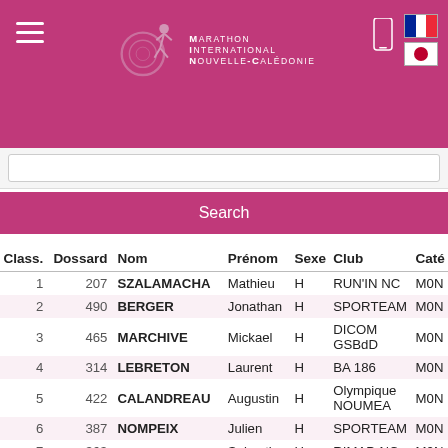Marathon International Nouvelle-Calédonie
Search
| Class. | Dossard | Nom | Prénom | Sexe | Club | Caté |
| --- | --- | --- | --- | --- | --- | --- |
| 1 | 207 | SZALAMACHA | Mathieu | H | RUN'IN NC | M0N |
| 2 | 490 | BERGER | Jonathan | H | SPORTEAM | M0N |
| 3 | 465 | MARCHIVE | Mickael | H | DICOM GSBdD | M0N |
| 4 | 314 | LEBRETON | Laurent | H | BA 186 | M0N |
| 5 | 422 | CALANDREAU | Augustin | H | Olympique NOUMEA | M0N |
| 6 | 387 | NOMPEIX | Julien | H | SPORTEAM | M0N |
| 7 | 363 | SZELASZKIEWICZ | Sebastian | H | RIMAP-NC | M0N |
| 8 | 306 | GROLEAU | Frédéric | H | BA 186 | M0N |
| 9 | 229 | AUPY | Vivien | H |  | M0N |
| 10 | 346 | CARTE |  | H | BASE |  |